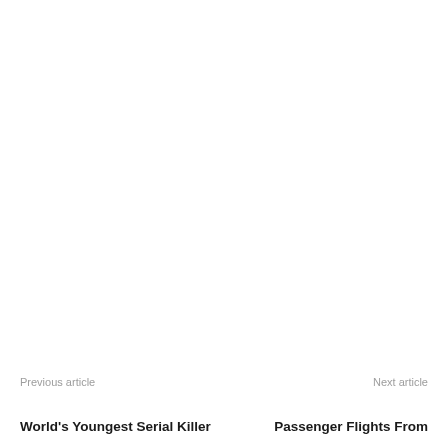Previous article
World's Youngest Serial Killer
Next article
Passenger Flights From